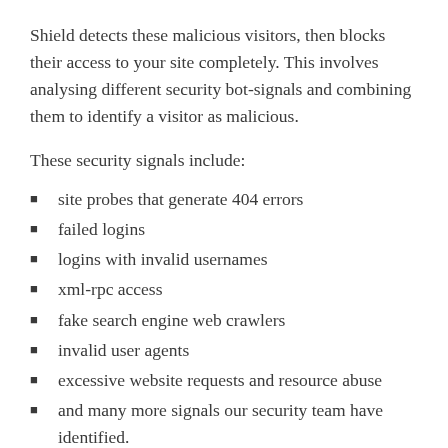Shield detects these malicious visitors, then blocks their access to your site completely. This involves analysing different security bot-signals and combining them to identify a visitor as malicious.
These security signals include:
site probes that generate 404 errors
failed logins
logins with invalid usernames
xml-rpc access
fake search engine web crawlers
invalid user agents
excessive website requests and resource abuse
and many more signals our security team have identified.
Early identification and blocking of malicious bots reduces your WordPress site's vulnerability to any